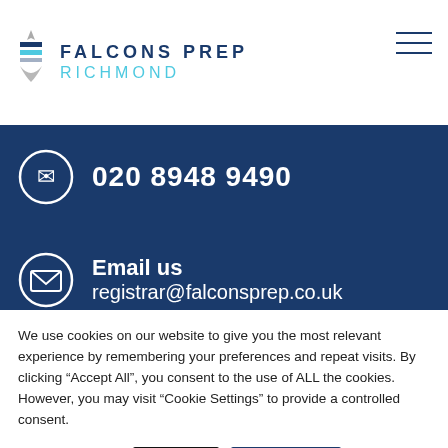[Figure (logo): Falcons Prep Richmond school logo with falcon icon, dark blue and teal text, horizontal colored bars]
020 8948 9490
Email us
registrar@falconsprep.co.uk
We use cookies on our website to give you the most relevant experience by remembering your preferences and repeat visits. By clicking “Accept All”, you consent to the use of ALL the cookies. However, you may visit "Cookie Settings" to provide a controlled consent.
Cookie settings
Reject
Accept All